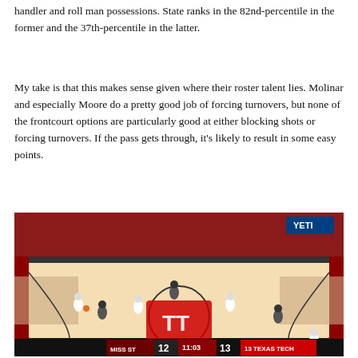handler and roll man possessions. State ranks in the 82nd-percentile in the former and the 37th-percentile in the latter.
My take is that this makes sense given where their roster talent lies. Molinar and especially Moore do a pretty good job of forcing turnovers, but none of the frontcourt options are particularly good at either blocking shots or forcing turnovers. If the pass gets through, it's likely to result in some easy points.
[Figure (photo): Aerial/broadcast view of a college basketball game. Players on court, arena with red-themed seating visible. Scoreboard overlay at bottom shows MISS ST 12, 11:03, 13 TEXAS TECH. Texas Tech logo (Double T) visible on court.]